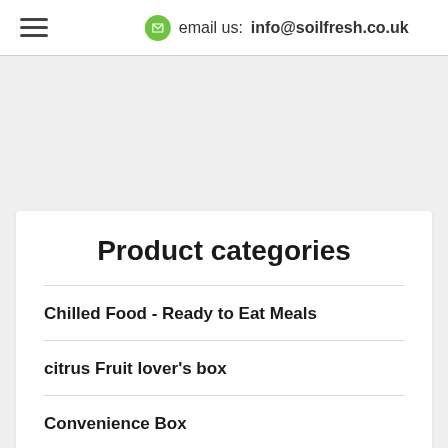email us: info@soilfresh.co.uk
Product categories
Chilled Food - Ready to Eat Meals
citrus Fruit lover's box
Convenience Box
deal-of-day
FRUITS